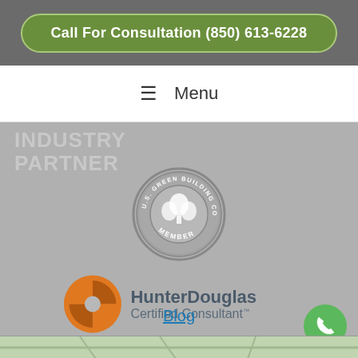Call For Consultation (850) 613-6228
≡ Menu
INDUSTRY PARTNER
[Figure (logo): U.S. Green Building Council Member circular badge/seal in gray and white]
[Figure (logo): HunterDouglas Certified Consultant logo with orange circular icon and dark gray text]
Blog
[Figure (map): Partial map view at the bottom of the page]